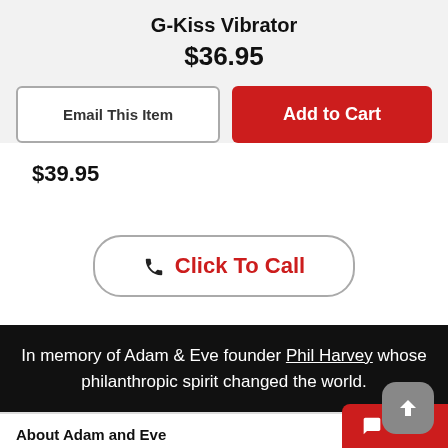G-Kiss Vibrator
$36.95
Email This Item
Add to Cart
$39.95
Click To Call
In memory of Adam & Eve founder Phil Harvey whose philanthropic spirit changed the world.
About Adam and Eve
Help
Chat